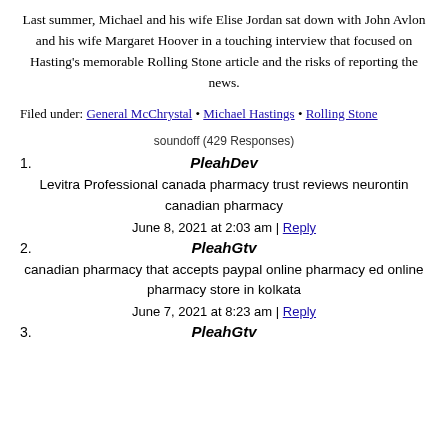Last summer, Michael and his wife Elise Jordan sat down with John Avlon and his wife Margaret Hoover in a touching interview that focused on Hasting's memorable Rolling Stone article and the risks of reporting the news.
Filed under: General McChrystal • Michael Hastings • Rolling Stone
soundoff (429 Responses)
1. PleahDev
Levitra Professional canada pharmacy trust reviews neurontin canadian pharmacy
June 8, 2021 at 2:03 am | Reply
2. PleahGtv
canadian pharmacy that accepts paypal online pharmacy ed online pharmacy store in kolkata
June 7, 2021 at 8:23 am | Reply
3. PleahGtv